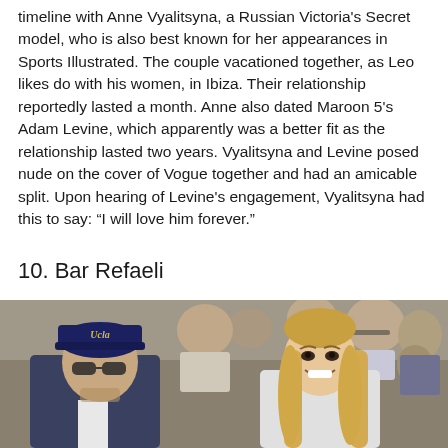timeline with Anne Vyalitsyna, a Russian Victoria's Secret model, who is also best known for her appearances in Sports Illustrated. The couple vacationed together, as Leo likes do with his women, in Ibiza. Their relationship reportedly lasted a month. Anne also dated Maroon 5's Adam Levine, which apparently was a better fit as the relationship lasted two years. Vyalitsyna and Levine posed nude on the cover of Vogue together and had an amicable split. Upon hearing of Levine's engagement, Vyalitsyna had this to say: “I will love him forever.”
10. Bar Refaeli
[Figure (photo): Photo of a man wearing a dark UCLA baseball cap and blue shirt seated next to a smiling blonde woman, with a crowd visible in the background. This appears to be at a sporting event.]